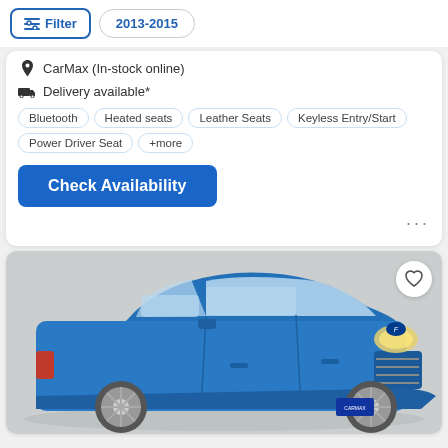Filter
2013-2015
CarMax (In-stock online)
Delivery available*
Bluetooth
Heated seats
Leather Seats
Keyless Entry/Start
Power Driver Seat
+more
Check Availability
[Figure (photo): Blue Ford C-Max hatchback car shown from a front-left angle against a light grey background, with a CarMax license plate holder. A heart/favorite button appears in the top-right corner of the image.]